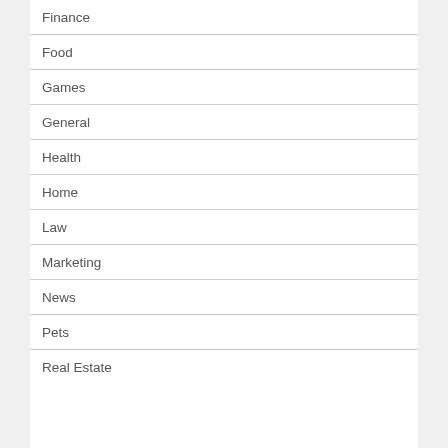Finance
Food
Games
General
Health
Home
Law
Marketing
News
Pets
Real Estate